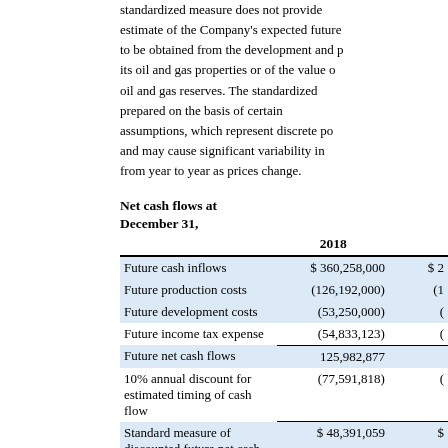standardized measure does not provide estimate of the Company's expected future to be obtained from the development and production its oil and gas properties or of the value of oil and gas reserves. The standardized prepared on the basis of certain assumptions, which represent discrete points and may cause significant variability in from year to year as prices change.
Net cash flows at December 31,
|  | 2018 |  |
| --- | --- | --- |
| Future cash inflows | $ 360,258,000 | $ 2 |
| Future production costs | (126,192,000) | (1 |
| Future development costs | (53,250,000) | ( |
| Future income tax expense | (54,833,123) | ( |
| Future net cash flows | 125,982,877 |  |
| 10% annual discount for estimated timing of cash flow | (77,591,818) | ( |
| Standard measure of discounted future net cash flows related to proved reserves | $ 48,391,059 | $ |